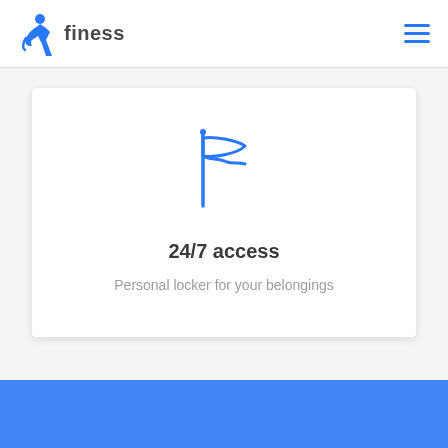finess
[Figure (illustration): Blue flag icon with wavy outline]
24/7 access
Personal locker for your belongings